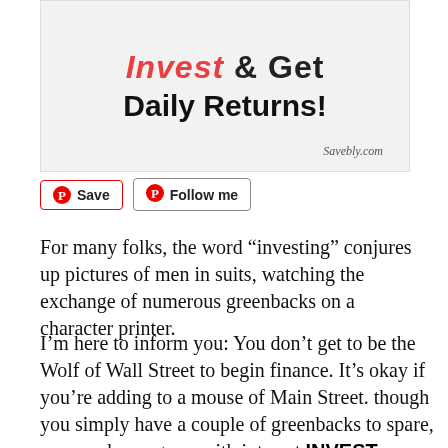[Figure (illustration): Promotional image with text 'Invest & Get Daily Returns!' in bold stylized font with 'Invest' in red italic and rest in black, with 'Savebly.com' watermark at bottom right, on a light grey background.]
[Figure (other): Pinterest Save and Follow me buttons with Pinterest logo icons.]
For many folks, the word “investing” conjures up pictures of men in suits, watching the exchange of numerous greenbacks on a character printer.
I’m here to inform you: You don’t get to be the Wolf of Wall Street to begin finance. It’s okay if you’re adding to a mouse of Main Street. though you simply have a couple of greenbacks to spare, your cash can grow with interest. INVEST NOW/MAKE